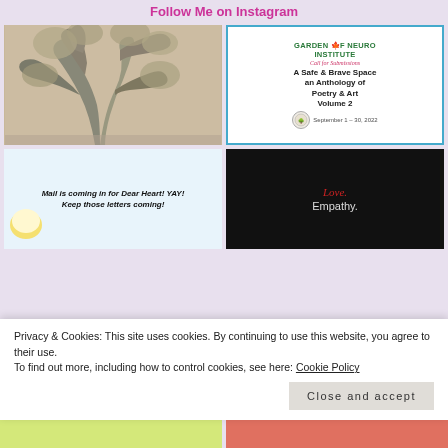Follow Me on Instagram
[Figure (photo): Black and white photo of gnarled, twisted tree branches]
[Figure (infographic): Garden of Neuro Institute Call for Submissions flyer: A Safe & Brave Space an Anthology of Poetry & Art Volume 2, September 1 – 30, 2022]
[Figure (infographic): Light blue background with coffee cup and italic bold text: Mail is coming in for Dear Heart! YAY! Keep those letters coming!]
[Figure (infographic): Black background with red italic text 'Love.' and white text 'Empathy.']
Privacy & Cookies: This site uses cookies. By continuing to use this website, you agree to their use.
To find out more, including how to control cookies, see here: Cookie Policy
Close and accept
[Figure (photo): Partial yellow-green image at bottom left]
[Figure (photo): Partial red/pink patterned image at bottom right]